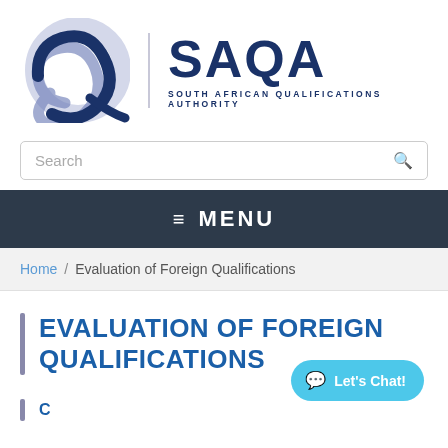[Figure (logo): SAQA - South African Qualifications Authority logo with stylized Q mark in blue/lavender and SAQA text]
Search
≡ MENU
Home / Evaluation of Foreign Qualifications
EVALUATION OF FOREIGN QUALIFICATIONS
Let's Chat!